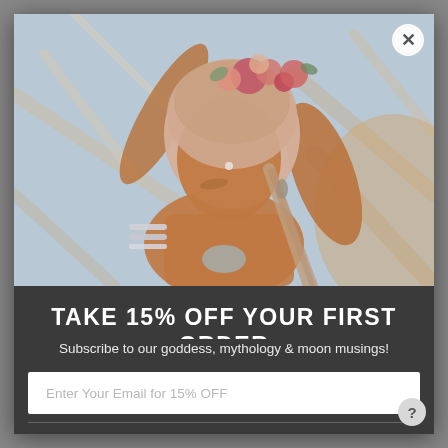[Figure (photo): Fashion photo of a dark-skinned woman wearing a pink/beige head wrap decorated with pink and rose-colored flowers, silver bangles, looking downward, photographed among whitish bare tree branches in an outdoor nature setting.]
TAKE 15% OFF YOUR FIRST ORDER
Subscribe to our goddess, mythology & moon musings!
Enter Your Email for 15% OFF
JOIN US